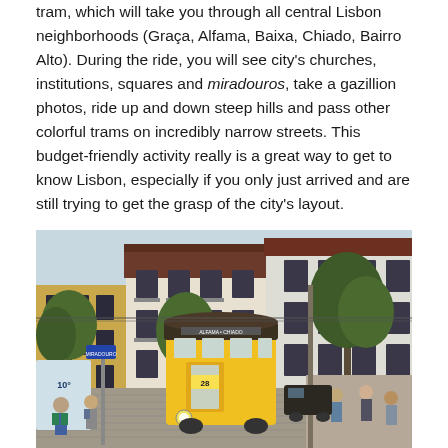tram, which will take you through all central Lisbon neighborhoods (Graça, Alfama, Baixa, Chiado, Bairro Alto). During the ride, you will see city's churches, institutions, squares and miradouros, take a gazillion photos, ride up and down steep hills and pass other colorful trams on incredibly narrow streets. This budget-friendly activity really is a great way to get to know Lisbon, especially if you only just arrived and are still trying to get the grasp of the city's layout.
[Figure (photo): Street scene in Lisbon showing a yellow vintage tram (number 28) on a narrow cobblestone street, surrounded by historic buildings with red-tiled roofs, trees, and pedestrians walking along the sidewalk.]